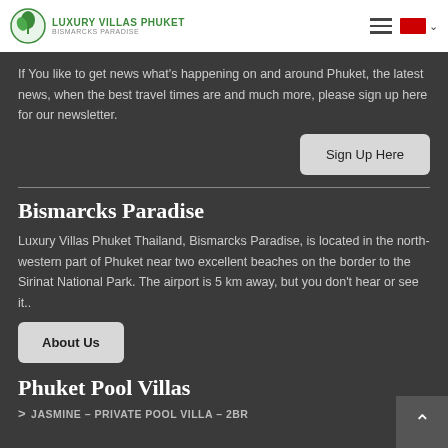Luxury Villas Phuket - Bismarcks Paradise
If You like to get news what's happening on and around Phuket, the latest news, when the best travel times are and much more, please sign up here for our newsletter.
Sign Up Here
Bismarcks Paradise
Luxury Villas Phuket Thailand, Bismarcks Paradise, is located in the north-western part of Phuket near two excellent beaches on the border to the Sirinat National Park. The airport is 5 km away, but you don't hear or see it..
About Us
Phuket Pool Villas
JASMINE – PRIVATE POOL VILLA – 2BR